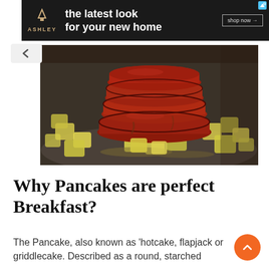[Figure (advertisement): Ashley Furniture advertisement banner with dark background, Ashley logo in orange/gold, tagline 'the latest look for your new home', and 'shop now →' button]
[Figure (photo): Stack of red/crimson pancakes on a dark plate surrounded by diced pineapple chunks with syrup]
Why Pancakes are perfect Breakfast?
The Pancake, also known as 'hotcake, flapjack or griddlecake. Described as a round, starched